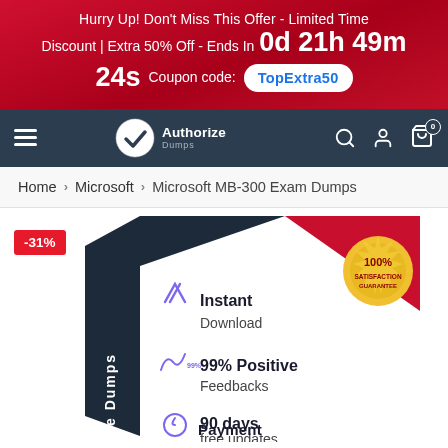Hurry Up! Don't Miss This Offer - Limited Time Discount | Extra 50% Off - Ends In 0d 21h 49m 24s Coupon code: TopExtra50
[Figure (logo): AuthorizeDumps logo with checkmark circle icon, white text on dark navy navbar with hamburger menu, search, user, and cart icons]
Home > Microsoft > Microsoft MB-300 Exam Dumps
[Figure (photo): Product box for Microsoft MB-300 Exam Dumps showing: -31% badge, Instant Download with checkmark, 99% Positive Feedbacks, 90 days free updates, Payment (partially visible). Gold 100% Satisfaction Guarantee seal in top right.]